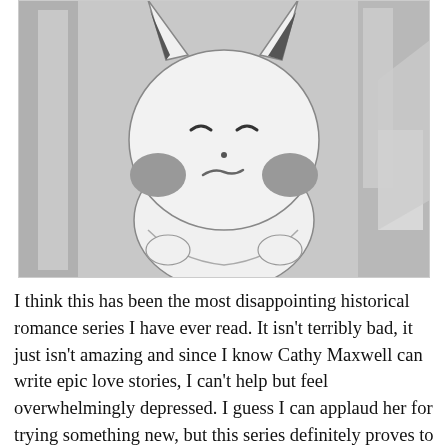[Figure (illustration): A black and white anime-style illustration of a sad Pikachu character with closed downturned eyes and a frowning mouth, with round cheek markings, set against a blurred background suggesting an indoor environment.]
I think this has been the most disappointing historical romance series I have ever read. It isn't terribly bad, it just isn't amazing and since I know Cathy Maxwell can write epic love stories, I can't help but feel overwhelmingly depressed. I guess I can applaud her for trying something new, but this series definitely proves to be that historical romance and paranormal romance